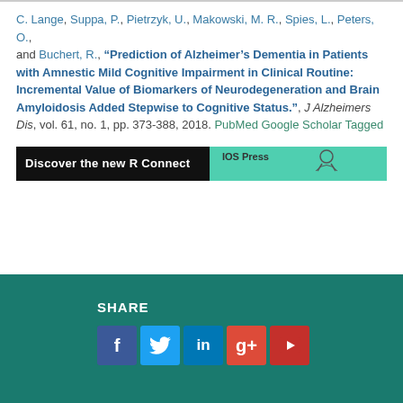C. Lange, Suppa, P., Pietrzyk, U., Makowski, M. R., Spies, L., Peters, O., and Buchert, R., "Prediction of Alzheimer's Dementia in Patients with Amnestic Mild Cognitive Impairment in Clinical Routine: Incremental Value of Biomarkers of Neurodegeneration and Brain Amyloidosis Added Stepwise to Cognitive Status.", J Alzheimers Dis, vol. 61, no. 1, pp. 373-388, 2018. PubMed Google Scholar Tagged
[Figure (other): Advertisement banner showing 'Discover the new R Connect' text on a dark background with teal/green background and decorative elements on the right]
SHARE
[Figure (other): Social media sharing buttons: Facebook (blue), Twitter (light blue), LinkedIn (dark blue), Google+ (red), YouTube (red)]
Disclaimer | Privacy Policy | Journal of Alzheimer's Disease is published by IOS Press